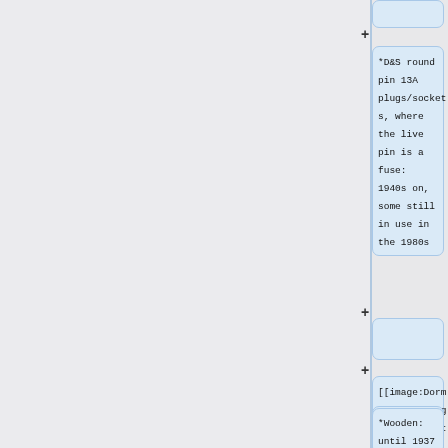[Figure (screenshot): Wiki-style diff/comparison interface showing two columns of content cards connected by plus signs. Left gray panel, right column with light blue highlighted cards. Cards contain text about D&S round pin 13A plugs/sockets and image wiki markup.]
*D&S round pin 13A plugs/sockets, where the live pin is a fuse: 1940s on, some still in use in the 1980s
[[image:Dermansmith2.jpg|185px|right]]
*Wooden: until 1937
*Wooden: until 1937